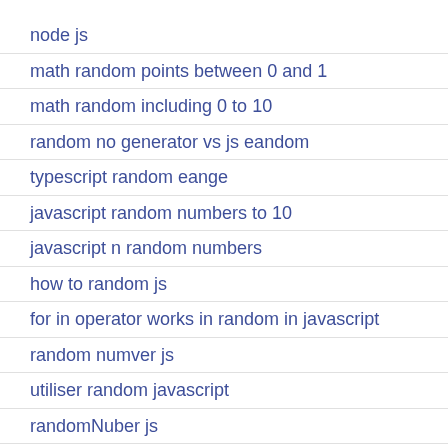node js
math random points between 0 and 1
math random including 0 to 10
random no generator vs js eandom
typescript random eange
javascript random numbers to 10
javascript n random numbers
how to random js
for in operator works in random in javascript
random numver js
utiliser random javascript
randomNuber js
randome number in javascript
randome funciton in js